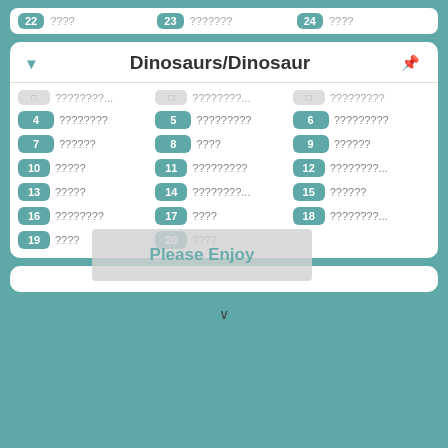| # | Item | # | Item | # | Item |
| --- | --- | --- | --- | --- | --- |
| 22 | ???? | 23 | ??????? | 24 | ???? |
|  | ????????... |  | ????????... |  | ????????? |
| 4 | ???????? | 5 | ????????? | 6 | ????????? |
| 7 | ?????? | 8 | ???? | 9 | ?????? |
| 10 | ????? | 11 | ????????? | 12 | ????????... |
| 13 | ????? | 14 | ????????... | 15 | ?????? |
| 16 | ???????? | 17 | ???? | 18 | ????????... |
| 19 | ???? | 20 | ???? |  |  |
Dinosaurs/Dinosaur
Please Enjoy